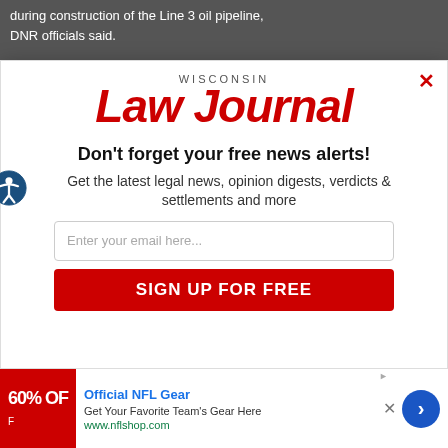during construction of the Line 3 oil pipeline, DNR officials said.
[Figure (logo): Wisconsin Law Journal logo with red italic text]
Don't forget your free news alerts!
Get the latest legal news, opinion digests, verdicts & settlements and more
Enter your email here...
SIGN UP FOR FREE
[Figure (infographic): NFL advertisement banner: Official NFL Gear - Get Your Favorite Team's Gear Here - www.nflshop.com - 60% OFF]